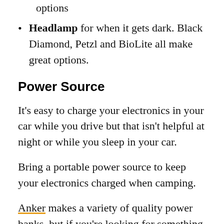options
Headlamp for when it gets dark. Black Diamond, Petzl and BioLite all make great options.
Power Source
It’s easy to charge your electronics in your car while you drive but that isn’t helpful at night or while you sleep in your car.
Bring a portable power source to keep your electronics charged when camping.
Anker makes a variety of quality power banks, but if you’re looking for something larger and